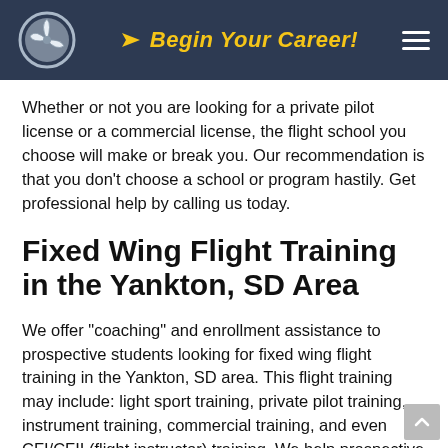Begin Your Career!
Whether or not you are looking for a private pilot license or a commercial license, the flight school you choose will make or break you. Our recommendation is that you don't choose a school or program hastily. Get professional help by calling us today.
Fixed Wing Flight Training in the Yankton, SD Area
We offer "coaching" and enrollment assistance to prospective students looking for fixed wing flight training in the Yankton, SD area. This flight training may include: light sport training, private pilot training, instrument training, commercial training, and even CFI/CFII (flight instructor) training. We help prospective